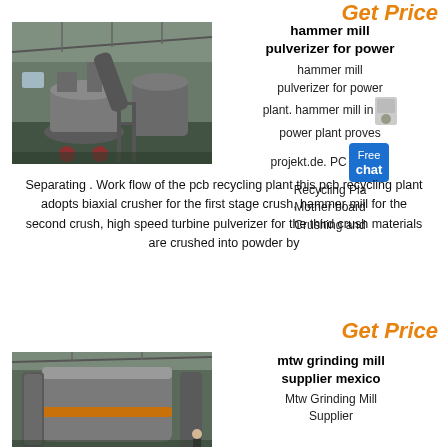Get Price
[Figure (photo): Industrial hammer mill pulverizer machinery inside a factory/warehouse setting]
hammer mill pulverizer for power
hammer mill pulverizer for power plant. hammer mill in power plant proves projekt.de. PC Recycling Plant Mother board Crushing and Separating . Work flow of the pcb recycling plant this pcb recycling plant adopts biaxial crusher for the first stage crush, hammer mill for the second crush, high speed turbine pulverizer for the third crush materials are crushed into powder by
Get Price
[Figure (photo): Industrial mtw grinding mill machinery close-up inside a factory]
mtw grinding mill supplier mexico
Mtw Grinding Mill Supplier